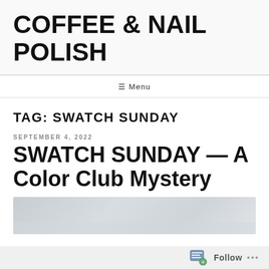COFFEE & NAIL POLISH
≡ Menu
TAG: SWATCH SUNDAY
SEPTEMBER 4, 2022
SWATCH SUNDAY — A Color Club Mystery
[Figure (photo): Partial view of a photo showing a grey/blue surface, likely nail polish swatches on a stone or paper background.]
Follow ...